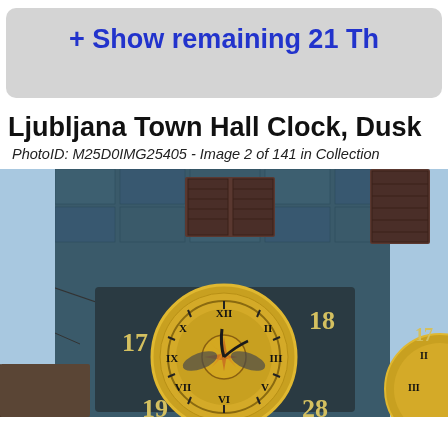+ Show remaining 21 Th
Ljubljana Town Hall Clock, Dusk
PhotoID: M25D0IMG25405 - Image 2 of 141 in Collection
[Figure (photo): Photograph of Ljubljana Town Hall Clock tower at dusk, showing a large ornate golden clock face with Roman numerals and numbers 17, 18, 19, 28 around the edges, set into a dark blue-green stone tower facade. A second partial clock face is visible on the right edge.]